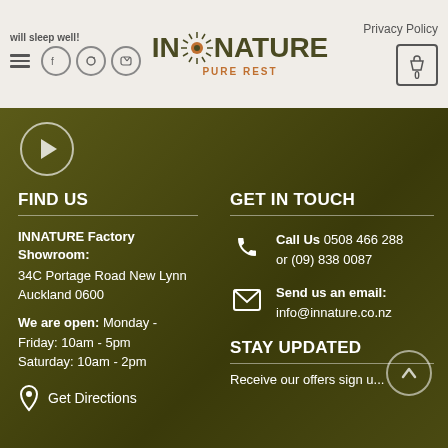will sleep well! | INNATURE PURE REST | Privacy Policy | 0
[Figure (logo): INNATURE PURE REST logo with sunburst emblem between IN and NATURE text]
FIND US
INNATURE Factory Showroom:
34C Portage Road New Lynn Auckland 0600
We are open: Monday - Friday: 10am - 5pm
Saturday: 10am - 2pm
Get Directions
GET IN TOUCH
Call Us 0508 466 288 or (09) 838 0087
Send us an email: info@innature.co.nz
STAY UPDATED
Receive our offers sign u...